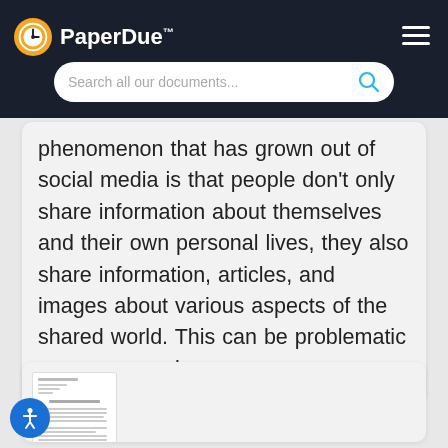[Figure (logo): PaperDue logo with clock icon and search bar in dark header]
phenomenon that has grown out of social media is that people don't only share information about themselves and their own personal lives, they also share information, articles, and images about various aspects of the shared world. This can be problematic as many people…
[Figure (screenshot): Preview of a document page with text lines]